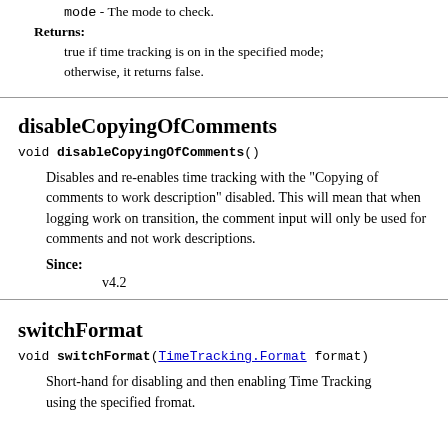mode - The mode to check.
Returns:
true if time tracking is on in the specified mode; otherwise, it returns false.
disableCopyingOfComments
void disableCopyingOfComments()
Disables and re-enables time tracking with the "Copying of comments to work description" disabled. This will mean that when logging work on transition, the comment input will only be used for comments and not work descriptions.
Since:
v4.2
switchFormat
void switchFormat(TimeTracking.Format format)
Short-hand for disabling and then enabling Time Tracking using the specified fromat.